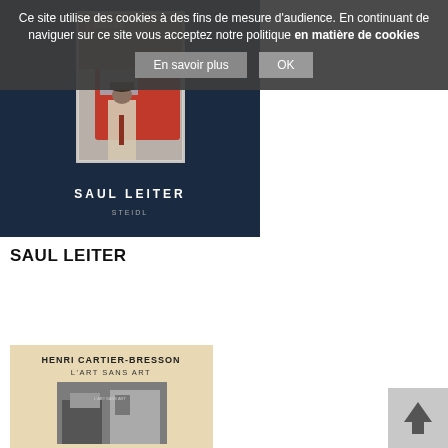Ce site utilise des cookies à des fins de mesure d'audience. En continuant de naviguer sur ce site vous acceptez notre politique en matière de cookies
[Figure (photo): Saul Leiter book cover with dark navy background, photograph of a man in a suit near a red truck, title 'SAUL LEITER' and publisher 'STEIDL']
SAUL LEITER
[Figure (photo): Henri Cartier-Bresson book cover with beige/tan background, title 'HENRI CARTIER-BRESSON L'ART SANS ART', with a black and white photograph]
[Figure (other): Back to top button with upward arrow, grey square]